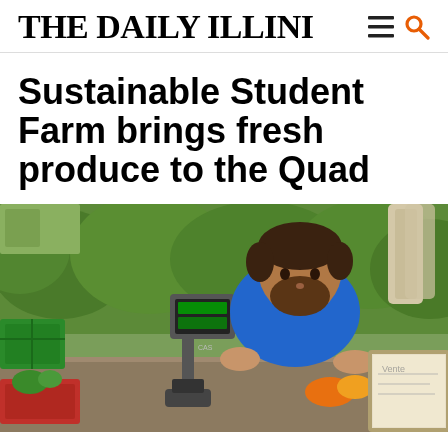THE DAILY ILLINI
Sustainable Student Farm brings fresh produce to the Quad
[Figure (photo): A young man with a beard wearing a blue t-shirt leans over a market stall table with a digital scale, green crates, and produce. Behind him is a lush green hedge/shrub wall. On the right side is what appears to be a framed sign or board. The scene appears to be an outdoor farmers market setting.]